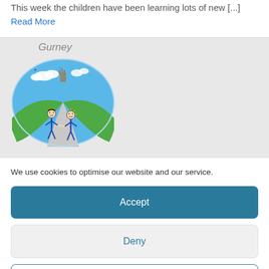This week the children have been learning lots of new [...]
Read More
[Figure (illustration): Children's drawing showing two stick figures walking on a path with trees and clouds, inside an oval frame. Title text partially visible above reading 'Gurney'.]
We use cookies to optimise our website and our service.
Accept
Deny
Preferences